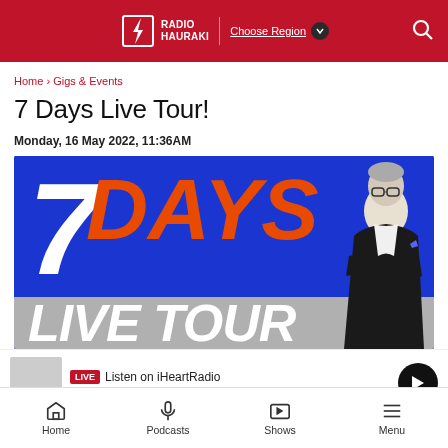Radio Hauraki — Choose Region — Search
Home › Gigs & Events
7 Days Live Tour!
Monday, 16 May 2022, 11:36AM
[Figure (photo): 7 Days Live Tour promotional banner with bold text '7 DAYS LIVE TOUR' on a blue background with a man in a black suit standing with arms crossed]
LIVE Listen on iHeartRadio
Home · Podcasts · Shows · Menu